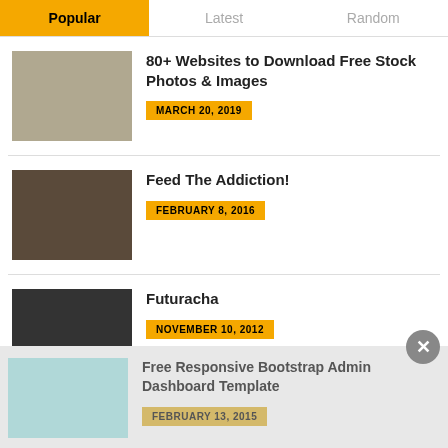Popular | Latest | Random
80+ Websites to Download Free Stock Photos & Images — MARCH 20, 2019
Feed The Addiction! — FEBRUARY 8, 2016
Futuracha — NOVEMBER 10, 2012
Free Responsive Bootstrap Admin Dashboard Template — FEBRUARY 13, 2015